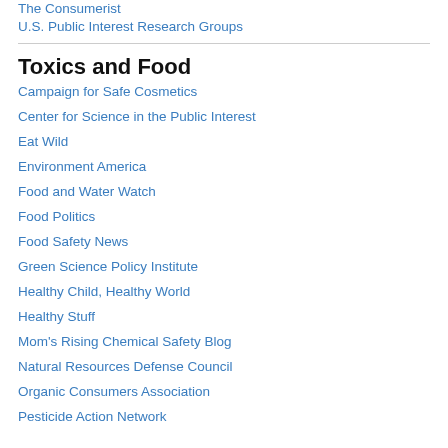The Consumerist
U.S. Public Interest Research Groups
Toxics and Food
Campaign for Safe Cosmetics
Center for Science in the Public Interest
Eat Wild
Environment America
Food and Water Watch
Food Politics
Food Safety News
Green Science Policy Institute
Healthy Child, Healthy World
Healthy Stuff
Mom's Rising Chemical Safety Blog
Natural Resources Defense Council
Organic Consumers Association
Pesticide Action Network